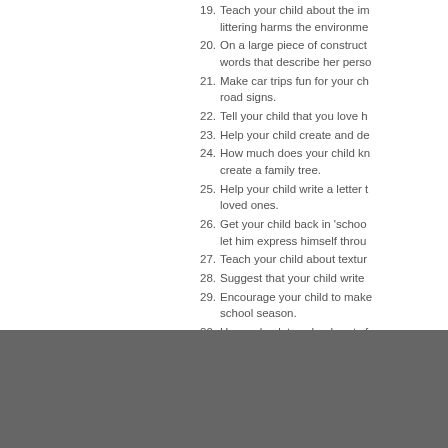19. Teach your child about the importance of not littering; explain how littering harms the environment.
20. On a large piece of construction paper, write words that describe her personality.
21. Make car trips fun for your child by reading road signs.
22. Tell your child that you love him.
23. Help your child create and decorate bookmarks.
24. How much does your child know about family? create a family tree.
25. Help your child write a letter to far-away loved ones.
26. Get your child back in 'school mode' by letting him express himself through art.
27. Teach your child about texture.
28. Suggest that your child write a story.
29. Encourage your child to make goals for the school season.
30. Have a back to school party for your child.
31. Help your child prepare for school.